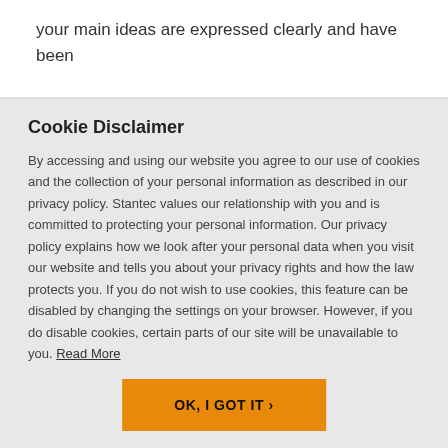understanding are key. This involves making sure your main ideas are expressed clearly and have been
Cookie Disclaimer
By accessing and using our website you agree to our use of cookies and the collection of your personal information as described in our privacy policy. Stantec values our relationship with you and is committed to protecting your personal information. Our privacy policy explains how we look after your personal data when you visit our website and tells you about your privacy rights and how the law protects you. If you do not wish to use cookies, this feature can be disabled by changing the settings on your browser. However, if you do disable cookies, certain parts of our site will be unavailable to you. Read More
OK, I GOT IT ›